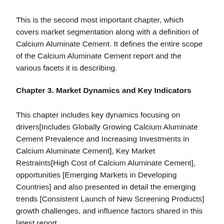This is the second most important chapter, which covers market segmentation along with a definition of Calcium Aluminate Cement. It defines the entire scope of the Calcium Aluminate Cement report and the various facets it is describing.
Chapter 3. Market Dynamics and Key Indicators
This chapter includes key dynamics focusing on drivers[Includes Globally Growing Calcium Aluminate Cement Prevalence and Increasing Investments in Calcium Aluminate Cement], Key Market Restraints[High Cost of Calcium Aluminate Cement], opportunities [Emerging Markets in Developing Countries] and also presented in detail the emerging trends [Consistent Launch of New Screening Products] growth challenges, and influence factors shared in this latest report.